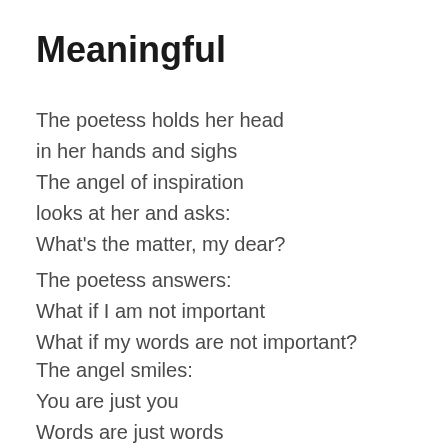Meaningful
The poetess holds her head
in her hands and sighs
The angel of inspiration
looks at her and asks:
What's the matter, my dear?
The poetess answers:
What if I am not important
What if my words are not important?
The angel smiles:
You are just you
Words are just words
It's the ego
that tends to value